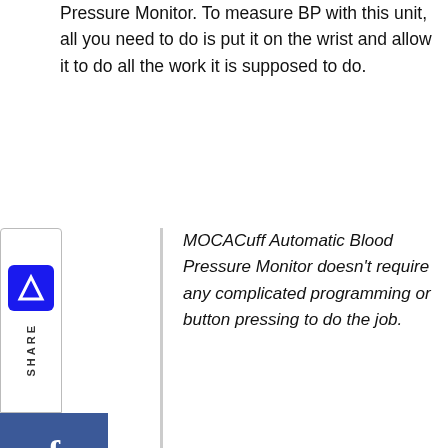Pressure Monitor. To measure BP with this unit, all you need to do is put it on the wrist and allow it to do all the work it is supposed to do.
MOCACuff Automatic Blood Pressure Monitor doesn't require any complicated programming or button pressing to do the job.
o, it connects easily with Smartphones using an plication to let you visualize all the health trends and p an eye on BP readings. Bluetooth connectivity, fully omatic working, color codes result, and therefore large display is a few of the simplest facts about CACuff automatic that creates its one among the top-